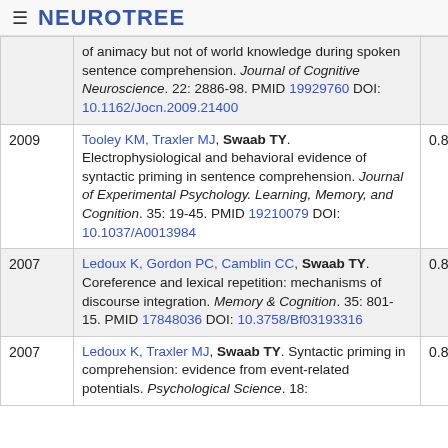NEUROTREE
| Year | Reference | Score |
| --- | --- | --- |
|  | of animacy but not of world knowledge during spoken sentence comprehension. Journal of Cognitive Neuroscience. 22: 2886-98. PMID 19929760 DOI: 10.1162/Jocn.2009.21400 |  |
| 2009 | Tooley KM, Traxler MJ, Swaab TY. Electrophysiological and behavioral evidence of syntactic priming in sentence comprehension. Journal of Experimental Psychology. Learning, Memory, and Cognition. 35: 19-45. PMID 19210079 DOI: 10.1037/A0013984 | 0.857 |
| 2007 | Ledoux K, Gordon PC, Camblin CC, Swaab TY. Coreference and lexical repetition: mechanisms of discourse integration. Memory & Cognition. 35: 801-15. PMID 17848036 DOI: 10.3758/Bf03193316 | 0.853 |
| 2007 | Ledoux K, Traxler MJ, Swaab TY. Syntactic priming in comprehension: evidence from event-related potentials. Psychological Science. 18: | 0.863 |